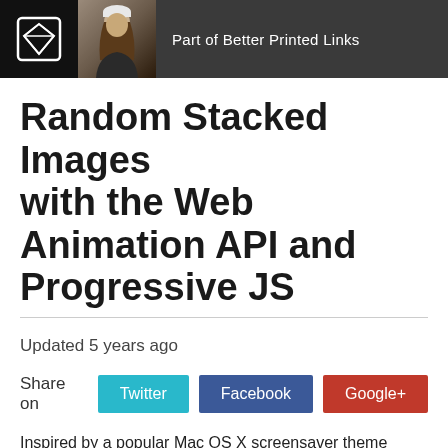Part of Better Printed Links
Random Stacked Images with the Web Animation API and Progressive JS
Updated 5 years ago
Share on  Twitter  Facebook  Google+
Inspired by a popular Mac OS X screensaver theme